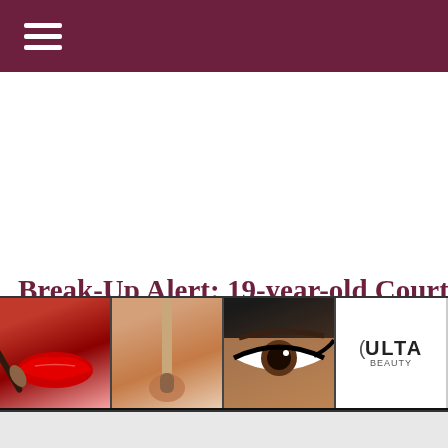Navigation menu bar
Break-Up Alert: 19-year-old Courtney St
November 2, 2013
Yeah, because no one saw this one coming. When Courtney St actor) Doug Hutchison, I don't think...
[Figure (photo): Ulta Beauty advertisement banner showing makeup images including lips, brush, eye makeup, Ulta Beauty logo, smoky eye, and SHOP NOW call to action]